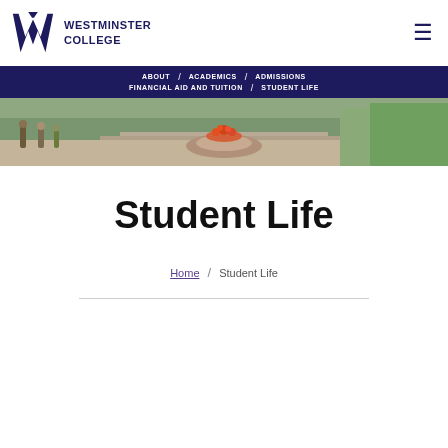[Figure (logo): Westminster College logo: stylized W mark in dark navy/purple with shield, alongside bold uppercase text WESTMINSTER COLLEGE]
ABOUT / ACADEMICS / ADMISSIONS / FINANCIAL AID AND TUITION / STUDENT LIFE
[Figure (photo): Campus outdoor scene with students walking near a circular fountain planter with flowers and stone steps in background]
Student Life
Home / Student Life